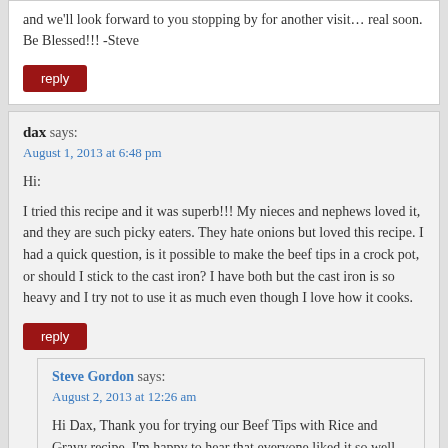and we'll look forward to you stopping by for another visit… real soon. Be Blessed!!! -Steve
reply
dax says:
August 1, 2013 at 6:48 pm
Hi:
I tried this recipe and it was superb!!! My nieces and nephews loved it, and they are such picky eaters. They hate onions but loved this recipe. I had a quick question, is it possible to make the beef tips in a crock pot, or should I stick to the cast iron? I have both but the cast iron is so heavy and I try not to use it as much even though I love how it cooks.
reply
Steve Gordon says:
August 2, 2013 at 12:26 am
Hi Dax, Thank you for trying our Beef Tips with Rice and Gravy recipe. I'm happy to hear that everyone liked it so well.